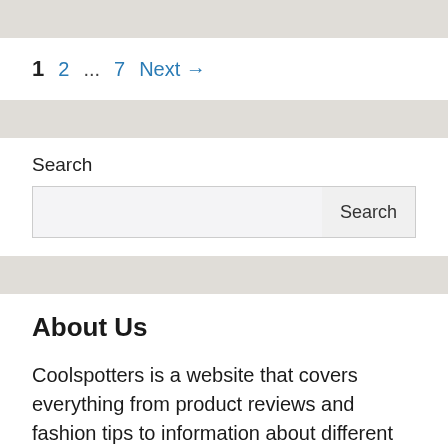1  2  ...  7  Next →
Search
About Us
Coolspotters is a website that covers everything from product reviews and fashion tips to information about different brands